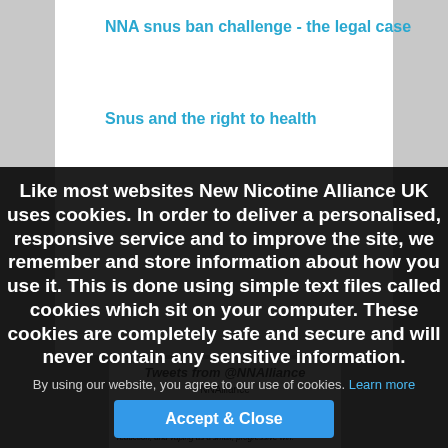NNA snus ban challenge - the legal case
Snus and the right to health
[Figure (screenshot): Tweets from @NNAlliance widget showing NNAlliance account and tweet text about Britain's tendency to focus on prohibition when addressing addiction]
Like most websites New Nicotine Alliance UK uses cookies. In order to deliver a personalised, responsive service and to improve the site, we remember and store information about how you use it. This is done using simple text files called cookies which sit on your computer. These cookies are completely safe and secure and will never contain any sensitive information.
By using our website, you agree to our use of cookies. Learn more
Accept & Close